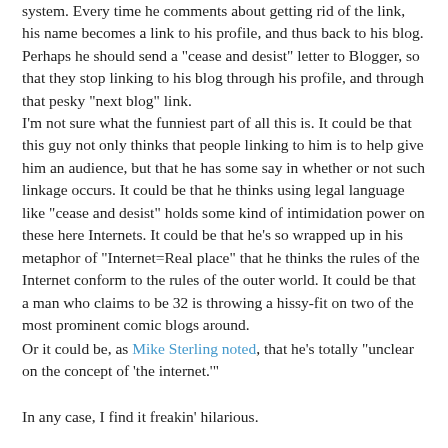system. Every time he comments about getting rid of the link, his name becomes a link to his profile, and thus back to his blog. Perhaps he should send a "cease and desist" letter to Blogger, so that they stop linking to his blog through his profile, and through that pesky "next blog" link.
I'm not sure what the funniest part of all this is. It could be that this guy not only thinks that people linking to him is to help give him an audience, but that he has some say in whether or not such linkage occurs. It could be that he thinks using legal language like "cease and desist" holds some kind of intimidation power on these here Internets. It could be that he's so wrapped up in his metaphor of "Internet=Real place" that he thinks the rules of the Internet conform to the rules of the outer world. It could be that a man who claims to be 32 is throwing a hissy-fit on two of the most prominent comic blogs around.
Or it could be, as Mike Sterling noted, that he's totally "unclear on the concept of 'the internet.'"
In any case, I find it freakin' hilarious.